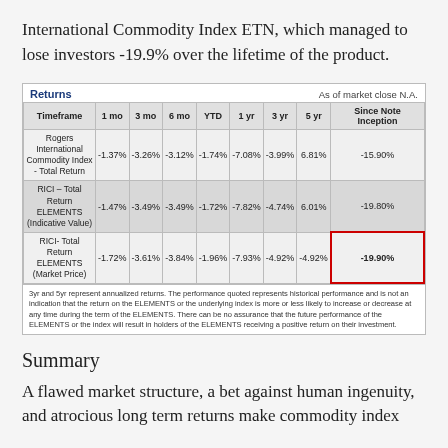International Commodity Index ETN, which managed to lose investors -19.9% over the lifetime of the product.
| Timeframe | 1 mo | 3 mo | 6 mo | YTD | 1 yr | 3 yr | 5 yr | Since Note Inception |
| --- | --- | --- | --- | --- | --- | --- | --- | --- |
| Rogers International Commodity Index - Total Return | -1.37% | -3.26% | -3.12% | -1.74% | -7.08% | -3.99% | 6.81% | -15.90% |
| RICI – Total Return ELEMENTS (Indicative Value) | -1.47% | -3.49% | -3.49% | -1.72% | -7.82% | -4.74% | 6.01% | -19.80% |
| RICI- Total Return ELEMENTS (Market Price) | -1.72% | -3.61% | -3.84% | -1.96% | -7.93% | -4.92% | -4.92% | -19.90% |
3yr and 5yr represent annualized returns. The performance quoted represents historical performance and is not an indication that the return on the ELEMENTS or the underlying index is more or less likely to increase or decrease at any time during the term of the ELEMENTS. There can be no assurance that the future performance of the ELEMENTS or the index will result in holders of the ELEMENTS receiving a positive return on their investment.
Summary
A flawed market structure, a bet against human ingenuity, and atrocious long term returns make commodity index